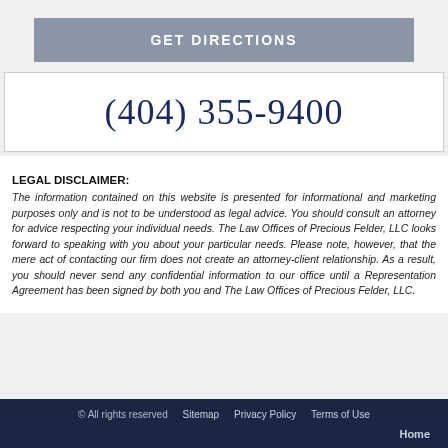[Figure (other): GET DIRECTIONS button in blue-grey color]
(404) 355-9400
LEGAL DISCLAIMER: The information contained on this website is presented for informational and marketing purposes only and is not to be understood as legal advice. You should consult an attorney for advice respecting your individual needs. The Law Offices of Precious Felder, LLC looks forward to speaking with you about your particular needs. Please note, however, that the mere act of contacting our firm does not create an attorney-client relationship. As a result, you should never send any confidential information to our office until a Representation Agreement has been signed by both you and The Law Offices of Precious Felder, LLC.
© All rights reserved   Sitemap   Privacy Policy   Terms of Use   Home